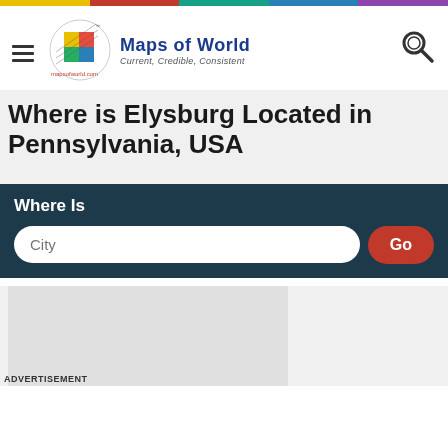[Figure (logo): Maps of World logo with colorful grid graphic and text 'Maps of World, Current, Credible, Consistent']
Where is Elysburg Located in Pennsylvania, USA
Where Is
City (input field) Go (button)
[Figure (other): Advertisement placeholder area]
ADVERTISEMENT